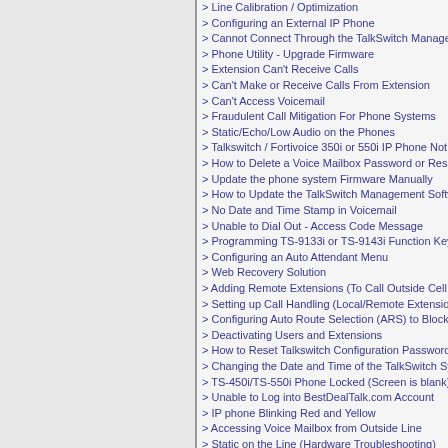> Line Calibration / Optimization
> Configuring an External IP Phone
> Cannot Connect Through the TalkSwitch Management
> Phone Utility - Upgrade Firmware
> Extension Can't Receive Calls
> Can't Make or Receive Calls From Extension
> Can't Access Voicemail
> Fraudulent Call Mitigation For Phone Systems
> Static/Echo/Low Audio on the Phones
> Talkswitch / Fortivoice 350i or 550i IP Phone Not B
> How to Delete a Voice Mailbox Password or Reset V
> Update the phone system Firmware Manually
> How to Update the TalkSwitch Management Softwa
> No Date and Time Stamp in Voicemail
> Unable to Dial Out - Access Code Message
> Programming TS-9133i or TS-9143i Function Keys
> Configuring an Auto Attendant Menu
> Web Recovery Solution
> Adding Remote Extensions (To Call Outside Cell Ph
> Setting up Call Handling (Local/Remote Extensions
> Configuring Auto Route Selection (ARS) to Block I
> Deactivating Users and Extensions
> How to Reset Talkswitch Configuration Password
> Changing the Date and Time of the TalkSwitch Syst
> TS-450i/TS-550i Phone Locked (Screen is blank)
> Unable to Log into BestDealTalk.com Account
> IP phone Blinking Red and Yellow
> Accessing Voice Mailbox from Outside Line
> Static on the Line (Hardware Troubleshooting)
> TS-850i Error: "No IP address" and "Ethernet disco
> Using the Phonebook Directory via TalkSwitch Han
> Unable to Obtain IP Address
> IP Phone Will Not Register
> Defaulting/Rebooting TS-9133i Phone
> Using GMX.com as Your E-mail Server
> Setting up Email Service
> Backing up you Talkswitch Configuration